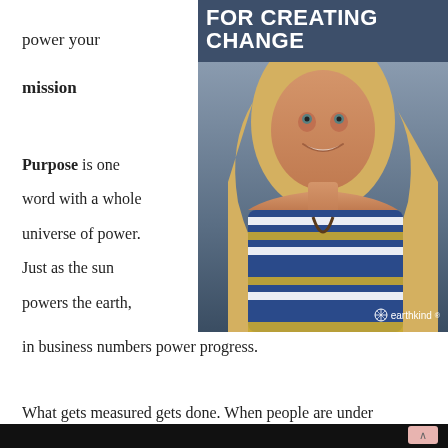power your
mission
Purpose is one word with a whole universe of power. Just as the sun powers the earth,
[Figure (photo): Book cover or promotional image with text 'FOR CREATING CHANGE' at top in bold white uppercase letters on dark blue-gray background, with a smiling blonde woman wearing a blue, yellow, and white striped top and a beaded necklace. An earthkind logo appears in the bottom right corner.]
in business numbers power progress.
What gets measured gets done. When people are under